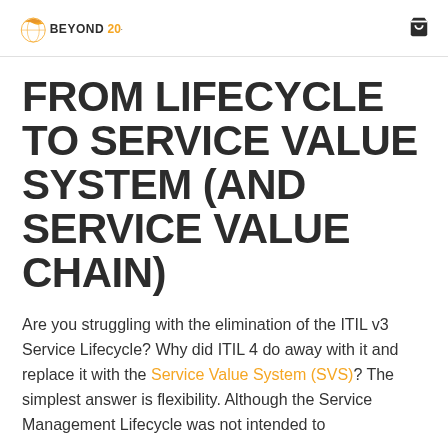BEYOND20 [logo] [cart icon]
FROM LIFECYCLE TO SERVICE VALUE SYSTEM (AND SERVICE VALUE CHAIN)
Are you struggling with the elimination of the ITIL v3 Service Lifecycle? Why did ITIL 4 do away with it and replace it with the Service Value System (SVS)? The simplest answer is flexibility. Although the Service Management Lifecycle was not intended to